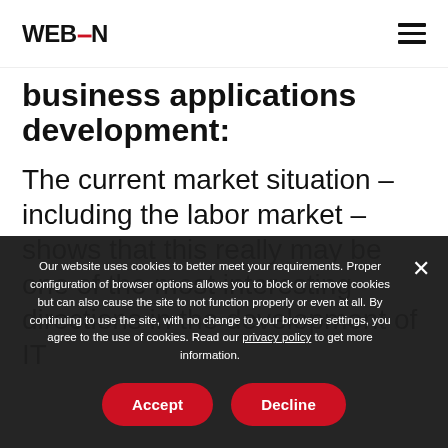WEBCON
business applications development:
The current market situation – including the labor market – shows that this really may be one of the most interesting directions in the development of IT
Our website uses cookies to better meet your requirements. Proper configuration of browser options allows you to block or remove cookies but can also cause the site to not function properly or even at all. By continuing to use the site, with no change to your browser settings, you agree to the use of cookies. Read our privacy policy to get more information.
Accept
Decline